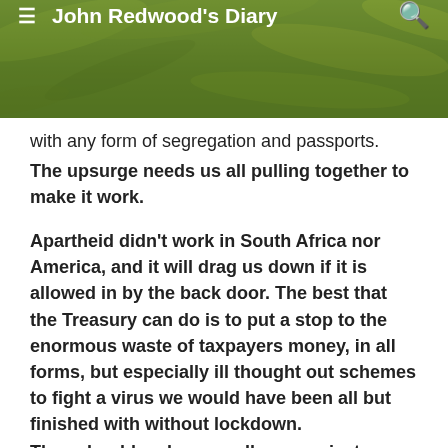John Redwood's Diary
with any form of segregation and passports.
The upsurge needs us all pulling together to make it work.
Apartheid didn't work in South Africa nor America, and it will drag us down if it is allowed in by the back door. The best that the Treasury can do is to put a stop to the enormous waste of taxpayers money, in all forms, but especially ill thought out schemes to fight a virus we would have been all but finished with without lockdown.
They should make sure all new projects are estimated correctly, not under-costed to get them accepted.
The Information Tribunal has ordered the Committee on Climate Change (CCC) to publish the calculations behind its claim that the UK economy can be decarbonised at modest...